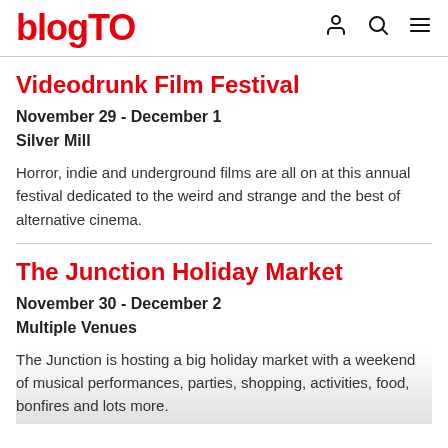blogTO
Videodrunk Film Festival
November 29 - December 1
Silver Mill
Horror, indie and underground films are all on at this annual festival dedicated to the weird and strange and the best of alternative cinema.
The Junction Holiday Market
November 30 - December 2
Multiple Venues
The Junction is hosting a big holiday market with a weekend of musical performances, parties, shopping, activities, food, bonfires and lots more.